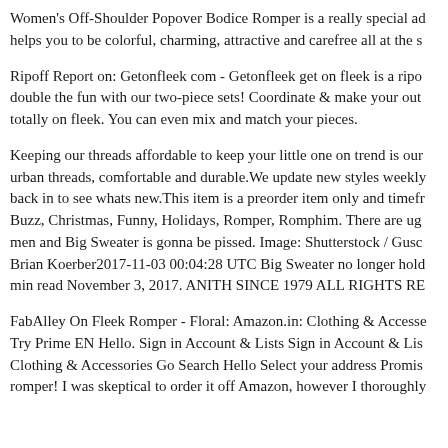Women's Off-Shoulder Popover Bodice Romper is a really special addition that helps you to be colorful, charming, attractive and carefree all at the s...
Ripoff Report on: Getonfleek com - Getonfleek get on fleek is a ripo... double the fun with our two-piece sets! Coordinate & make your out... totally on fleek. You can even mix and match your pieces.
Keeping our threads affordable to keep your little one on trend is our... urban threads, comfortable and durable.We update new styles weekly... back in to see whats new.This item is a preorder item only and timefr... Buzz, Christmas, Funny, Holidays, Romper, Romphim. There are ug... men and Big Sweater is gonna be pissed. Image: Shutterstock / Gusc... Brian Koerber2017-11-03 00:04:28 UTC Big Sweater no longer hold... min read November 3, 2017. ANITH SINCE 1979 ALL RIGHTS RE...
FabAlley On Fleek Romper - Floral: Amazon.in: Clothing & Accesse... Try Prime EN Hello. Sign in Account & Lists Sign in Account & Lis... Clothing & Accessories Go Search Hello Select your address Promis... romper! I was skeptical to order it off Amazon, however I thoroughly...